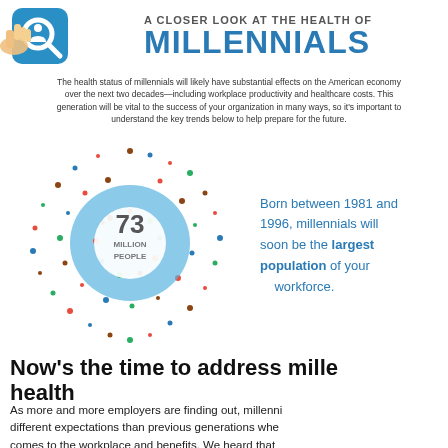[Figure (infographic): Header with magnifying glass icon and 'A Closer Look at the Health of Millennials' title in blue]
The health status of millennials will likely have substantial effects on the American economy over the next two decades—including workplace productivity and healthcare costs. This generation will be vital to the success of your organization in many ways, so it's important to understand the key trends below to help prepare for the future.
[Figure (infographic): Circular infographic showing scattered colorful people icons around a blue globe shape with '73 MILLION PEOPLE' text in center]
Born between 1981 and 1996, millennials will soon be the largest population of your workforce.
Now's the time to address millennial health
As more and more employers are finding out, millennials have different expectations than previous generations when it comes to the workplace and benefits. We heard that